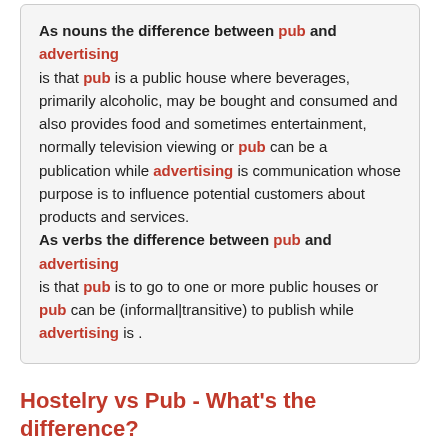As nouns the difference between pub and advertising is that pub is a public house where beverages, primarily alcoholic, may be bought and consumed and also provides food and sometimes entertainment, normally television viewing or pub can be a publication while advertising is communication whose purpose is to influence potential customers about products and services. As verbs the difference between pub and advertising is that pub is to go to one or more public houses or pub can be (informal|transitive) to publish while advertising is .
Hostelry vs Pub - What's the difference?